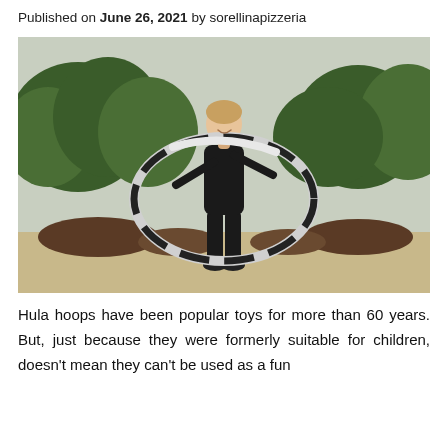Published on June 26, 2021 by sorellinapizzeria
[Figure (photo): A young woman in black athletic wear holding a large hula hoop outdoors in a park with green trees in the background.]
Hula hoops have been popular toys for more than 60 years. But, just because they were formerly suitable for children, doesn't mean they can't be used as a fun